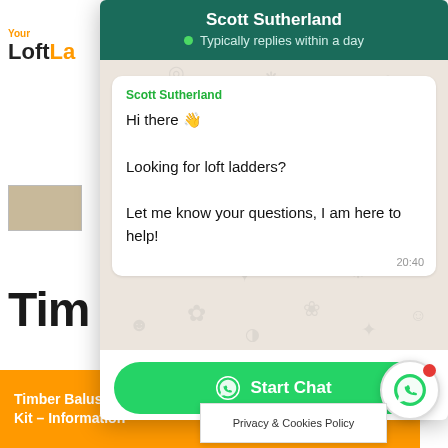[Figure (screenshot): WhatsApp chat widget overlay on a website page for YourLoftLadder. The overlay shows a chat from Scott Sutherland saying 'Hi there 👋 Looking for loft ladders? Let me know your questions, I am here to help!' with a Start Chat button. Background shows partial website content including logo, product image, heading starting with 'Tim', orange button, body text, and bottom orange bar with 'Timber Balustrade Kit – Information'. A Privacy & Cookies Policy popup and WhatsApp FAB button are also visible.]